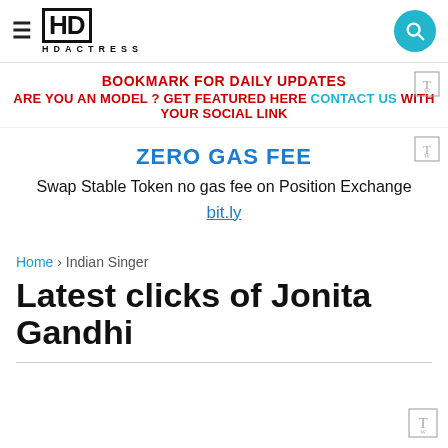HD ACTRESS (logo with hamburger menu and search button)
BOOKMARK FOR DAILY UPDATES
ARE YOU AN MODEL ? GET FEATURED HERE CONTACT US WITH YOUR SOCIAL LINK
[Figure (infographic): Small icon top right of ad banner area]
ZERO GAS FEE
Swap Stable Token no gas fee on Position Exchange
bit.ly
Home › Indian Singer
Latest clicks of Jonita Gandhi
[Figure (logo): Small icon bottom right of page]